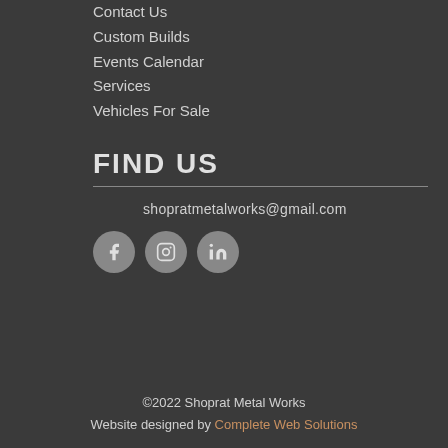Contact Us
Custom Builds
Events Calendar
Services
Vehicles For Sale
FIND US
shopratmetalworks@gmail.com
[Figure (illustration): Three social media icons in circular grey buttons: Facebook (f), Instagram (camera), LinkedIn (in)]
©2022 Shoprat Metal Works
Website designed by Complete Web Solutions